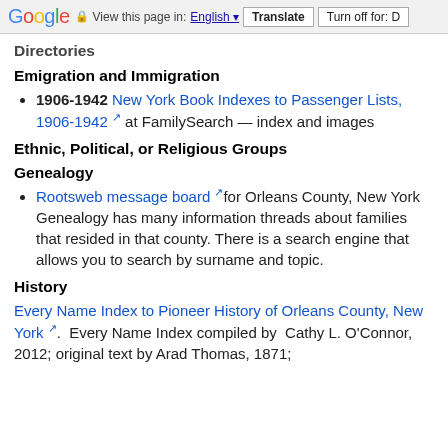Google  View this page in: English  Translate  Turn off for: D
Directories
Emigration and Immigration
1906-1942 New York Book Indexes to Passenger Lists, 1906-1942 at FamilySearch — index and images
Ethnic, Political, or Religious Groups
Genealogy
Rootsweb message board for Orleans County, New York Genealogy has many information threads about families that resided in that county. There is a search engine that allows you to search by surname and topic.
History
Every Name Index to Pioneer History of Orleans County, New York.  Every Name Index compiled by  Cathy L. O'Connor, 2012; original text by Arad Thomas, 1871;